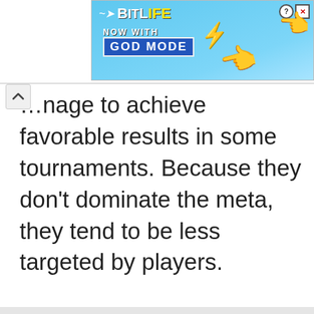[Figure (screenshot): BitLife advertisement banner with 'NOW WITH GOD MODE' text, sperm logo, lightning bolt, and pointing hand graphics on a blue background]
...nage to achieve favorable results in some tournaments. Because they don't dominate the meta, they tend to be less targeted by players.